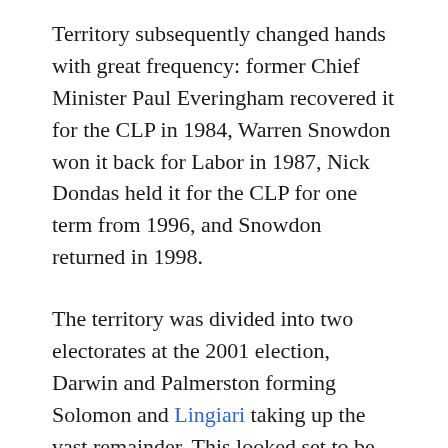Territory subsequently changed hands with great frequency: former Chief Minister Paul Everingham recovered it for the CLP in 1984, Warren Snowdon won it back for Labor in 1987, Nick Dondas held it for the CLP for one term from 1996, and Snowdon returned in 1998.
The territory was divided into two electorates at the 2001 election, Darwin and Palmerston forming Solomon and Lingiari taking up the vast remainder. This looked set to be reversed at the 2004 election, when the Northern Territory was found to be 295 residents short of the number required to maintain its second seat. Since both major parties felt they could win them both (a more sound judgment in